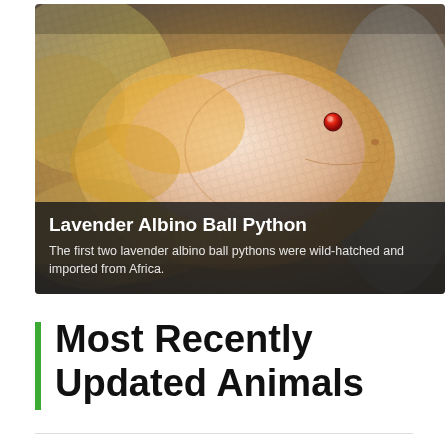[Figure (photo): Close-up photo of a Lavender Albino Ball Python coiled, showing its pink and orange-yellow patterned scales and a visible red/orange eye]
Lavender Albino Ball Python
The first two lavender albino ball pythons were wild-hatched and imported from Africa.
Most Recently Updated Animals